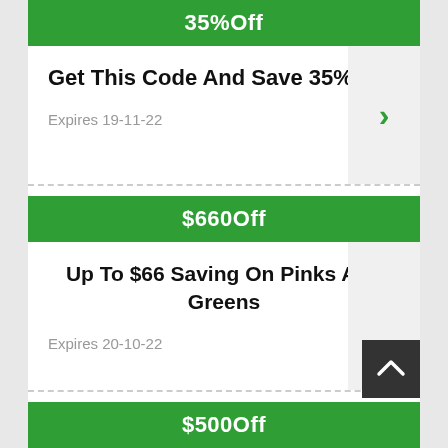35%Off
Get This Code And Save 35%
Expires 19-11-22
$660Off
Up To $66 Saving On Pinks And Greens
Expires 20-10-22
$500Off